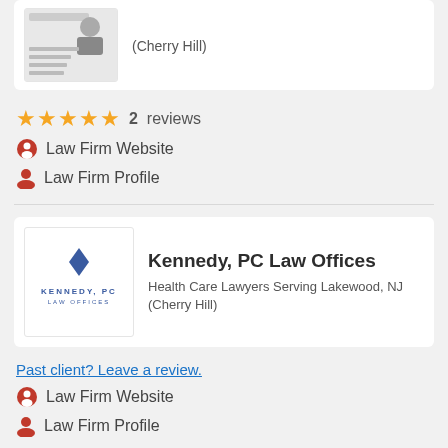[Figure (logo): Partial law firm logo/photo at top of page]
(Cherry Hill)
★★★★★  2  reviews
🔴 Law Firm Website
👤 Law Firm Profile
[Figure (logo): Kennedy, PC Law Offices logo with diamond icon and firm name]
Kennedy, PC Law Offices
Health Care Lawyers Serving Lakewood, NJ (Cherry Hill)
Past client? Leave a review.
🔴 Law Firm Website
👤 Law Firm Profile